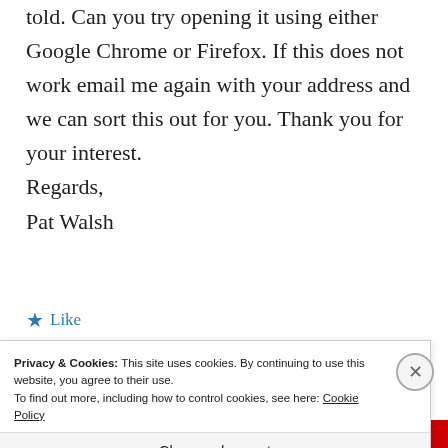told. Can you try opening it using either Google Chrome or Firefox. If this does not work email me again with your address and we can sort this out for you. Thank you for your interest.
Regards,
Pat Walsh
★ Like
Privacy & Cookies: This site uses cookies. By continuing to use this website, you agree to their use.
To find out more, including how to control cookies, see here: Cookie Policy
Close and accept